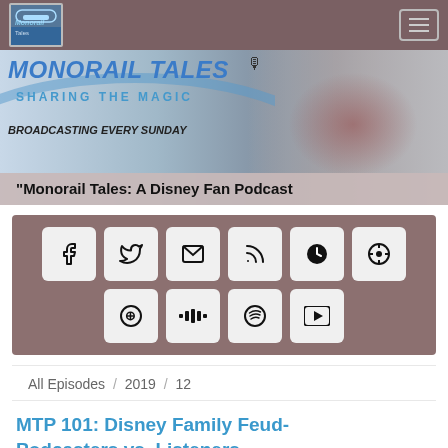Monorail Tales — Navigation bar with logo and hamburger menu
[Figure (illustration): Monorail Tales podcast banner with title 'MONORAIL TALES', subtitle 'SHARING THE MAGIC', 'BROADCASTING EVERY SUNDAY' text, Mickey and Minnie Mouse characters, and castle in background. Bottom overlay reads: Monorail Tales: A Disney Fan Podcast]
[Figure (infographic): Social media sharing icons panel on mauve/brown background: Facebook, Twitter, Email, RSS, Chartable, Apple Podcasts (top row); Google Podcasts, Stitcher, Spotify, YouTube (bottom row)]
All Episodes / 2019 / 12
MTP 101: Disney Family Feud- Podcasters vs. Listeners